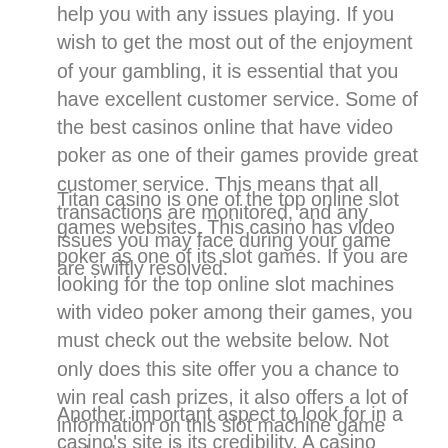help you with any issues playing. If you wish to get the most out of the enjoyment of your gambling, it is essential that you have excellent customer service. Some of the best casinos online that have video poker as one of their games provide great customer service. This means that all transactions are monitored, and any issues you may face during your game are swiftly resolved.
Titan casino is one of the top online slot games websites. This casino has video poker as one of its slot games. If you are looking for the top online slot machines with video poker among their games, you must check out the website below. Not only does this site offer you a chance to win real cash prizes, it also offers a lot of information on this slot machine game and other casino games.
Another important aspect to look for in a casino's site is its credibility. A casino website should be able to show